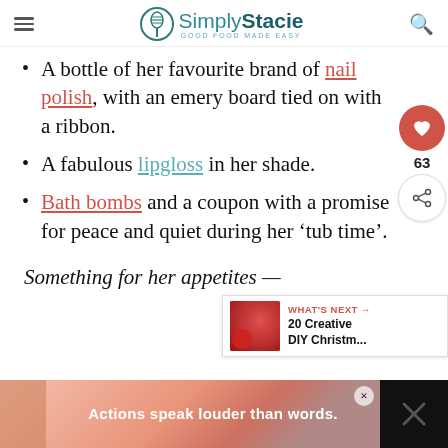Simply Stacie — GOOD FOOD MADE EASY
A bottle of her favourite brand of nail polish, with an emery board tied on with a ribbon.
A fabulous lipgloss in her shade.
Bath bombs and a coupon with a promise for peace and quiet during her ‘tub time’.
Something for her appetites —
[Figure (other): Social sharing widget with heart/like button (63 likes) and share button]
[Figure (other): What's Next panel with thumbnail and text '20 Creative DIY Christm...']
[Figure (other): Advertisement banner at bottom: 'Actions speak louder than words.']